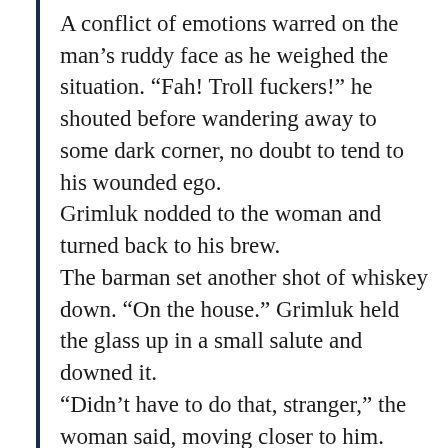A conflict of emotions warred on the man’s ruddy face as he weighed the situation. “Fah! Troll fuckers!” he shouted before wandering away to some dark corner, no doubt to tend to his wounded ego.
Grimluk nodded to the woman and turned back to his brew.
The barman set another shot of whiskey down. “On the house.” Grimluk held the glass up in a small salute and downed it.
“Didn’t have to do that, stranger,” the woman said, moving closer to him.
“Barrier spell in here prohibits violence. He’d have been turned away